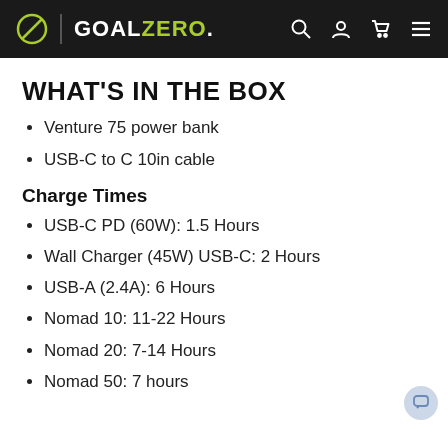GOALZERO.
WHAT'S IN THE BOX
Venture 75 power bank
USB-C to C 10in cable
Charge Times
USB-C PD (60W): 1.5 Hours
Wall Charger (45W) USB-C: 2 Hours
USB-A (2.4A): 6 Hours
Nomad 10: 11-22 Hours
Nomad 20: 7-14 Hours
Nomad 50: 7 hours